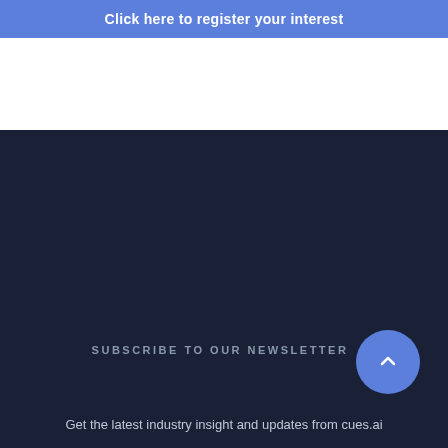Click here to register your interest
SUBSCRIBE TO OUR NEWSLETTER
Get the latest industry insight and updates from cues.ai